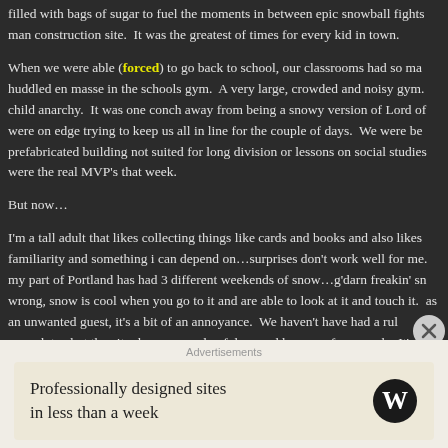filled with bags of sugar to fuel the moments in between epic snowball fights man construction site.  It was the greatest of times for every kid in town.
When we were able (forced) to go back to school, our classrooms had so ma huddled en masse in the schools gym.  A very large, crowded and noisy gym. child anarchy.  It was one conch away from being a snowy version of Lord of were on edge trying to keep us all in line for the couple of days.  We were be prefabricated building not suited for long division or lessons on social studies were the real MVP's that week.
But now…
I'm a tall adult that likes collecting things like cards and books and also likes familiarity and something i can depend on…surprises don't work well for me. my part of Portland has had 3 different weekends of snow…g'darn freakin' sn wrong, snow is cool when you go to it and are able to look at it and touch it. as an unwanted guest, it's a bit of an annoyance.  We haven't have had a rul enough to shut the city down a couple of days and keep me from work.  It's a (sliding) skills ratchet up a tick or two.
Advertisements
Professionally designed sites in less than a week